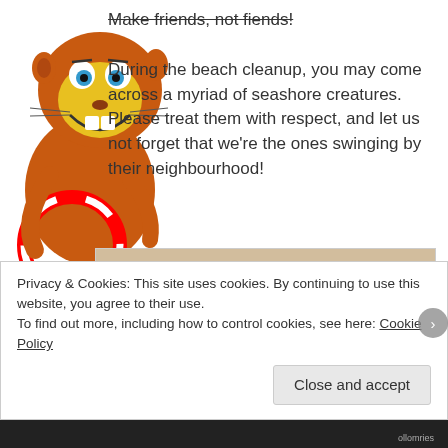Make friends, not fiends!
During the beach cleanup, you may come across a myriad of seashore creatures. Please treat them with respect, and let us not forget that we're the ones swinging by their neighbourhood!
[Figure (illustration): Cartoon otter/beaver mascot holding a life preserver ring, smiling, drawn in orange and yellow colors]
[Figure (photo): Close-up macro photograph of a small sand crab or shore creature on sandy beach]
Privacy & Cookies: This site uses cookies. By continuing to use this website, you agree to their use.
To find out more, including how to control cookies, see here: Cookie Policy
Close and accept